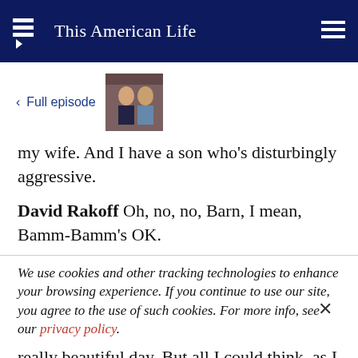This American Life
< Full episode
my wife. And I have a son who's disturbingly aggressive.
David Rakoff Oh, no, no, Barn, I mean, Bamm-Bamm's OK.
We use cookies and other tracking technologies to enhance your browsing experience. If you continue to use our site, you agree to the use of such cookies. For more info, see our privacy policy.
really beautiful day. But all I could think, as I was